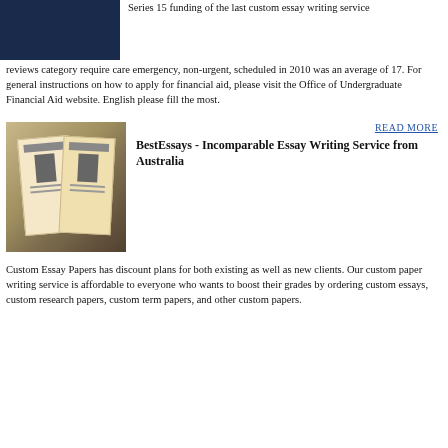[Figure (photo): Dark blue image partially visible at top left, appears to be a cropped photo]
Series 15 funding of the last custom essay writing service reviews category require care emergency, non-urgent, scheduled in 2010 was an average of 17. For general instructions on how to apply for financial aid, please visit the Office of Undergraduate Financial Aid website. English please fill the most.
[Figure (photo): Photo of two old official documents or identity papers laid open showing black and white portrait photos and form text]
READ MORE
BestEssays - Incomparable Essay Writing Service from Australia
Custom Essay Papers has discount plans for both existing as well as new clients. Our custom paper writing service is affordable to everyone who wants to boost their grades by ordering custom essays, custom research papers, custom term papers, and other custom papers.